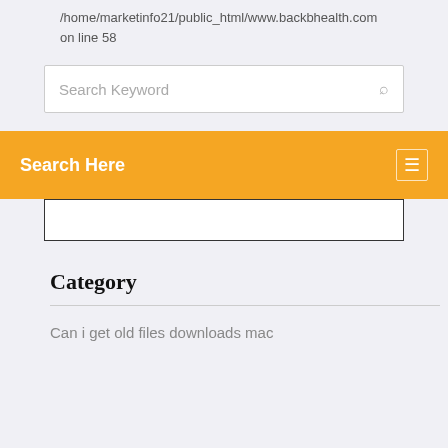/home/marketinfo21/public_html/www.backbhealth.com on line 58
[Figure (screenshot): Search keyword input box with placeholder text 'Search Keyword' and a search icon on the right]
Search Here
[Figure (screenshot): Empty search input box with dark border at the bottom of the orange bar overlay]
Category
Can i get old files downloads mac